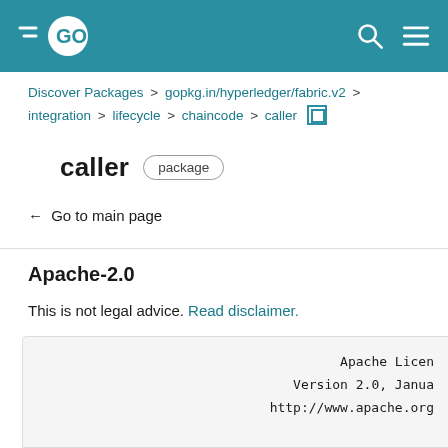GO (logo) | search | menu
Discover Packages > gopkg.in/hyperledger/fabric.v2 > integration > lifecycle > chaincode > caller
caller package
← Go to main page
Apache-2.0
This is not legal advice. Read disclaimer.
Apache License
Version 2.0, January 2004
http://www.apache.org

TERMS AND CONDITIONS FOR USE, REPRODUCTION